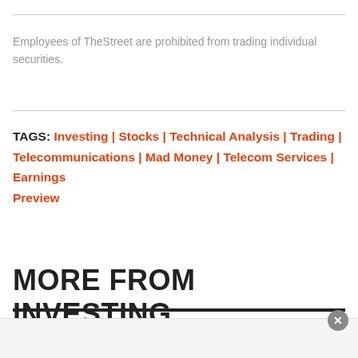Employees of TheStreet are prohibited from trading individual securities.
TAGS: Investing | Stocks | Technical Analysis | Trading | Telecommunications | Mad Money | Telecom Services | Earnings Preview
MORE FROM INVESTING